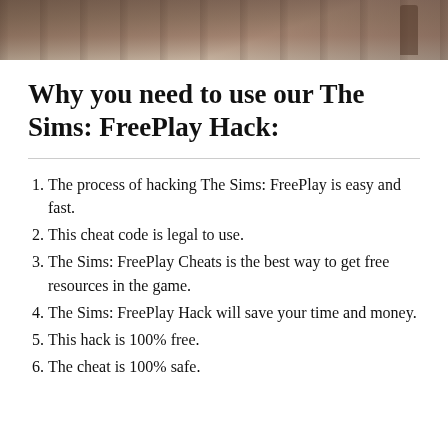[Figure (photo): Top portion of a screenshot from The Sims: FreePlay game, showing a building/house exterior view from above with pinkish-tan tiles and green grass.]
Why you need to use our The Sims: FreePlay Hack:
The process of hacking The Sims: FreePlay is easy and fast.
This cheat code is legal to use.
The Sims: FreePlay Cheats is the best way to get free resources in the game.
The Sims: FreePlay Hack will save your time and money.
This hack is 100% free.
The cheat is 100% safe.